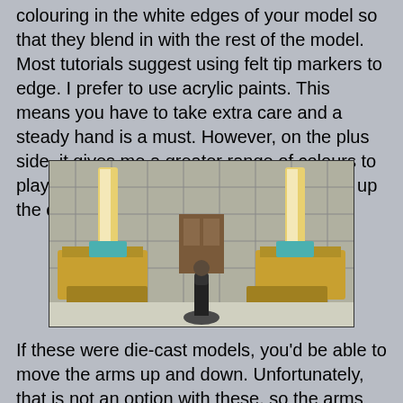colouring in the white edges of your model so that they blend in with the rest of the model. Most tutorials suggest using felt tip markers to edge. I prefer to use acrylic paints. This means you have to take extra care and a steady hand is a must. However, on the plus side, it gives me a greater range of colours to play with and I can more accurately match up the colours required.
[Figure (photo): Photo of two large yellow construction vehicle/digger models with raised arms, flanking a small miniature soldier figure, set against a backdrop of a painted building wall scene.]
If these were die-cast models, you'd be able to move the arms up and down. Unfortunately, that is not an option with these, so the arms have to be glued into one position only.The hydraulic joint between the bend in the two arms gives you some variation in how the arms can be positioned. Keen-eyed viewers will have seen the digger version of this